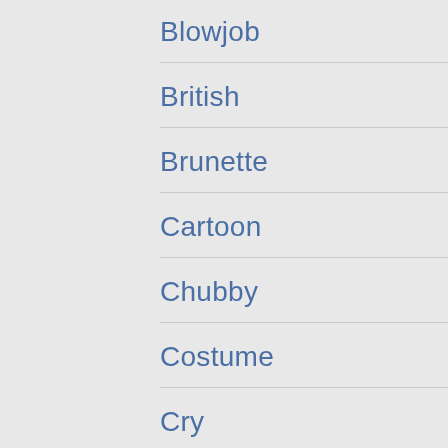Blowjob
British
Brunette
Cartoon
Chubby
Costume
Cry
Extreme
Glamour
Glasses